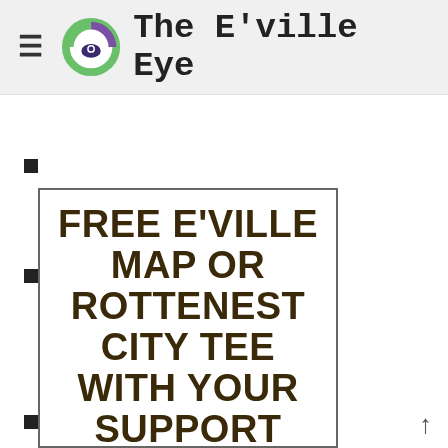The E'ville Eye
[Figure (illustration): Promotional box with bold text reading: FREE E'VILLE MAP OR ROTTENEST CITY TEE WITH YOUR SUPPORT]